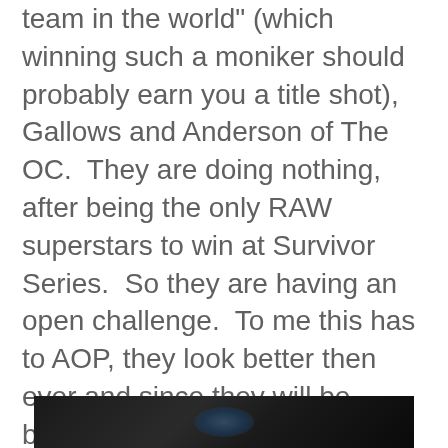team in the world" (which winning such a moniker should probably earn you a title shot), Gallows and Anderson of The OC.  They are doing nothing, after being the only RAW superstars to win at Survivor Series.  So they are having an open challenge.  To me this has to AOP, they look better then ever and since they will be backing up Seth that puts them in prime position to win titles and carry the division and have a legitimate feud with the Viking Raiders.  If AOP is the mystery opponent they will win, but if it's anyone else including Gallows and Anderson the Viking Raiders will retain.
[Figure (photo): Dark image at the bottom of the page, appears to be a wrestling-related photo with a dark background and faint blue/teal element visible]